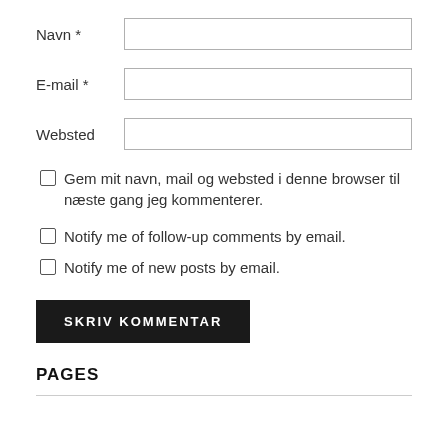Navn *
E-mail *
Websted
Gem mit navn, mail og websted i denne browser til næste gang jeg kommenterer.
Notify me of follow-up comments by email.
Notify me of new posts by email.
SKRIV KOMMENTAR
PAGES